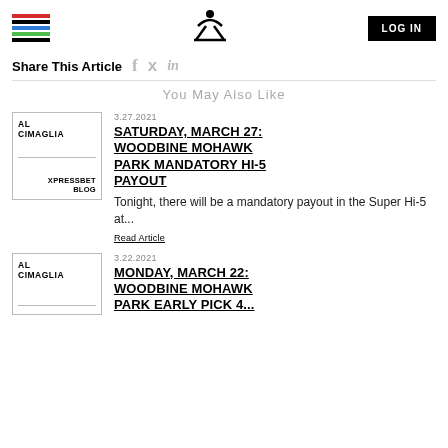[Figure (logo): Hamburger menu icon with colored lines (red, black, blue, green, black)]
[Figure (logo): XpressBet X logo in center of header]
[Figure (logo): LOG IN button (black rectangle with white text)]
Share This Article
You May Also Like
[Figure (illustration): AL CIMAGLIA / XPRESSBET BLOG author image card with border]
3.27.2021
SATURDAY, MARCH 27: WOODBINE MOHAWK PARK MANDATORY HI-5 PAYOUT
Tonight, there will be a mandatory payout in the Super Hi-5 at...
Read Article
[Figure (illustration): AL CIMAGLIA author image card with border (second article)]
3.22.2021
MONDAY, MARCH 22: WOODBINE MOHAWK PARK EARLY PICK 4...